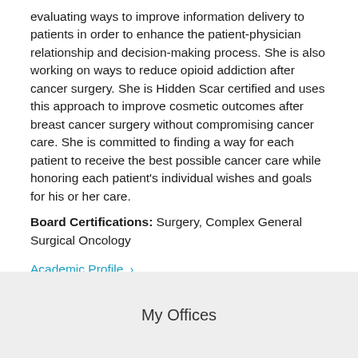evaluating ways to improve information delivery to patients in order to enhance the patient-physician relationship and decision-making process. She is also working on ways to reduce opioid addiction after cancer surgery. She is Hidden Scar certified and uses this approach to improve cosmetic outcomes after breast cancer surgery without compromising cancer care. She is committed to finding a way for each patient to receive the best possible cancer care while honoring each patient's individual wishes and goals for his or her care.
Board Certifications: Surgery, Complex General Surgical Oncology
Academic Profile ›
My Offices